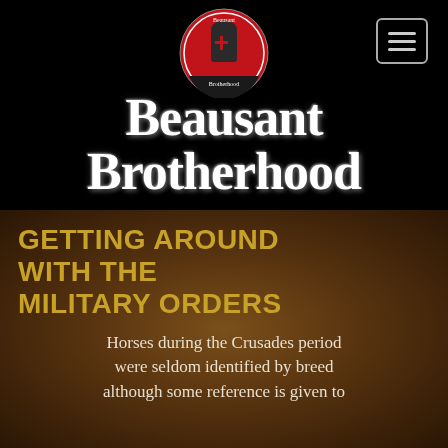[Figure (logo): Beausant Brotherhood circular logo with red background, Templar knight figure, and text 'Beausant Brotherhood' around the edge]
Beausant Brotherhood
GETTING AROUND WITH THE MILITARY ORDERS
Horses during the Crusades period were seldom identified by breed although some reference is given to